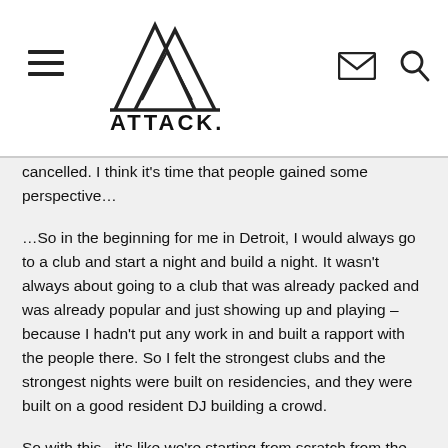ATTACK.
cancelled. I think it's time that people gained some perspective…
…So in the beginning for me in Detroit, I would always go to a club and start a night and build a night. It wasn't always about going to a club that was already packed and was already popular and just showing up and playing – because I hadn't put any work in and built a rapport with the people there. So I felt the strongest clubs and the strongest nights were built on residencies, and they were built on a good resident DJ building a crowd.
So with this,  it's like we're starting from scratch from the ground up. But now its more intimate, it's like a special thing. I do two shows a night to try to fit as many people in as we can and then we're archiving them. It's a unique special intimate experience that I'm not going to do again and each week I change the topic.